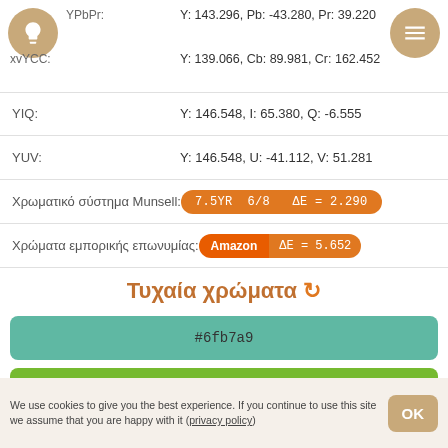YPbPr: Y: 143.296, Pb: -43.280, Pr: 39.220
xvYCC: Y: 139.066, Cb: 89.981, Cr: 162.452
YIQ: Y: 146.548, I: 65.380, Q: -6.555
YUV: Y: 146.548, U: -41.112, V: 51.281
Χρωματικό σύστημα Munsell: 7.5YR 6/8 ΔΕ = 2.290
Χρώματα εμπορικής επωνυμίας: Amazon ΔΕ = 5.652
Τυχαία χρώματα
#6fb7a9
#76ba30
We use cookies to give you the best experience. If you continue to use this site we assume that you are happy with it (privacy policy)